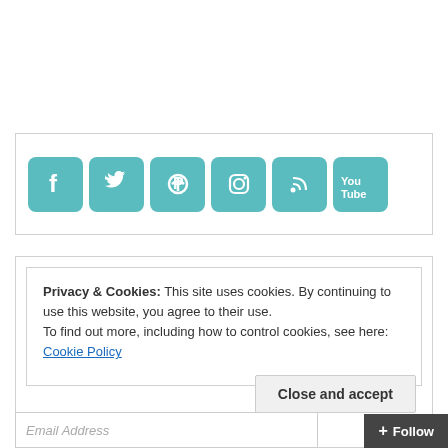[Figure (other): Social media icon buttons in teal/turquoise: Facebook, Twitter, Pinterest, Instagram, RSS feed, YouTube]
Privacy & Cookies: This site uses cookies. By continuing to use this website, you agree to their use.
To find out more, including how to control cookies, see here: Cookie Policy
Close and accept
Email Address
+ Follow